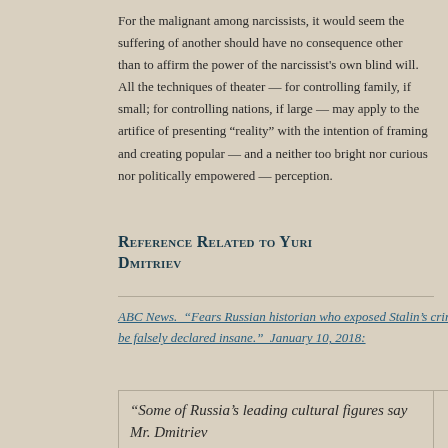For the malignant among narcissists, it would seem the suffering of another should have no consequence other than to affirm the power of the narcissist's own blind will.  All the techniques of theater — for controlling family, if small; for controlling nations, if large — may apply to the artifice of presenting "reality" with the intention of framing and creating popular — and a neither too bright nor curious nor politically empowered — perception.
Reference Related to Yuri Dmitriev
ABC News.  "Fears Russian historian who exposed Stalin's crimes may be falsely declared insane."  January 10, 2018:
"Some of Russia's leading cultural figures say Mr. Dmitriev